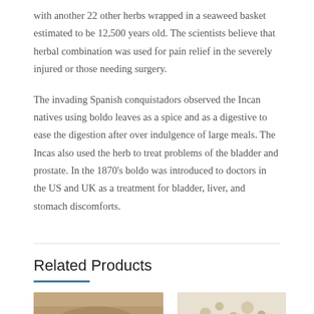with another 22 other herbs wrapped in a seaweed basket estimated to be 12,500 years old. The scientists believe that herbal combination was used for pain relief in the severely injured or those needing surgery.
The invading Spanish conquistadors observed the Incan natives using boldo leaves as a spice and as a digestive to ease the digestion after over indulgence of large meals. The Incas also used the herb to treat problems of the bladder and prostate. In the 1870's boldo was introduced to doctors in the US and UK as a treatment for bladder, liver, and stomach discomforts.
Related Products
[Figure (photo): Partial photo of herbs or plant material, brown/tan tones]
[Figure (photo): Partial photo of dried herbs or seeds, light tones]